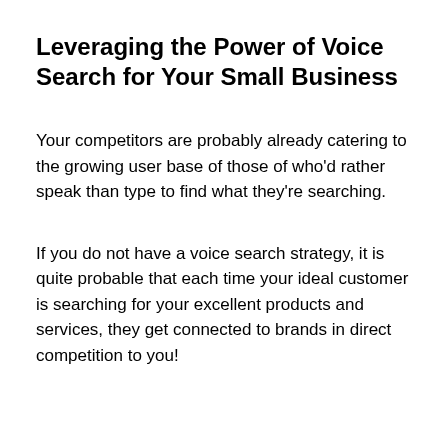Leveraging the Power of Voice Search for Your Small Business
Your competitors are probably already catering to the growing user base of those of who'd rather speak than type to find what they're searching.
If you do not have a voice search strategy, it is quite probable that each time your ideal customer is searching for your excellent products and services, they get connected to brands in direct competition to you!